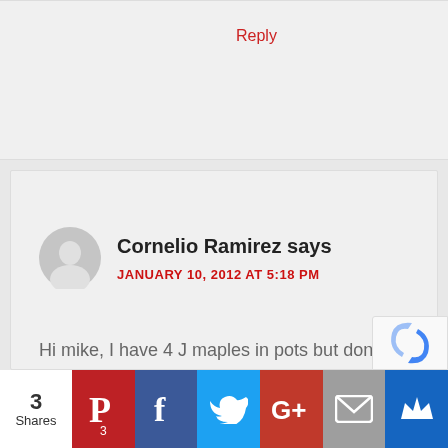Reply
Cornelio Ramirez says
JANUARY 10, 2012 AT 5:18 PM
Hi mike, I have 4 J maples in pots but don't know where to plant them in ground here in so california gets hot any ideas? thank you for all you do
Reply
3 Shares